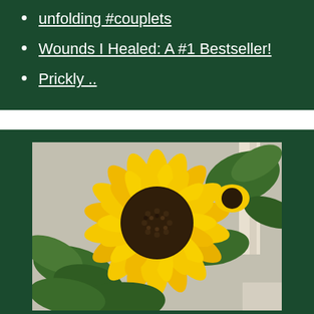unfolding #couplets
Wounds I Healed: A #1 Bestseller!
Prickly ..
[Figure (photo): Close-up photograph of a large yellow sunflower with a dark brown center, surrounded by green leaves, against a grey wall background.]